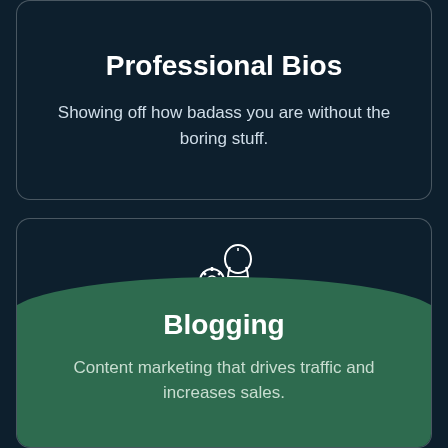Professional Bios
Showing off how badass you are without the boring stuff.
[Figure (illustration): Icon of gears and a lightbulb representing ideas and blogging]
Blogging
Content marketing that drives traffic and increases sales.